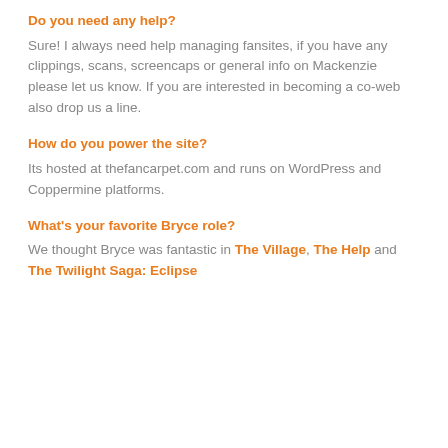Do you need any help?
Sure! I always need help managing fansites, if you have any clippings, scans, screencaps or general info on Mackenzie please let us know. If you are interested in becoming a co-web also drop us a line.
How do you power the site?
Its hosted at thefancarpet.com and runs on WordPress and Coppermine platforms.
What's your favorite Bryce role?
We thought Bryce was fantastic in The Village, The Help and The Twilight Saga: Eclipse